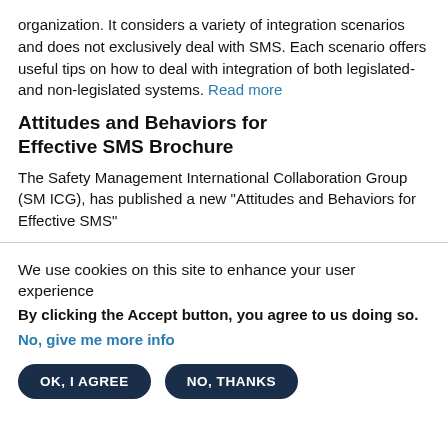organization. It considers a variety of integration scenarios and does not exclusively deal with SMS. Each scenario offers useful tips on how to deal with integration of both legislated-and non-legislated systems. Read more
Attitudes and Behaviors for Effective SMS Brochure
The Safety Management International Collaboration Group (SM ICG), has published a new "Attitudes and Behaviors for Effective SMS"
We use cookies on this site to enhance your user experience
By clicking the Accept button, you agree to us doing so.
No, give me more info